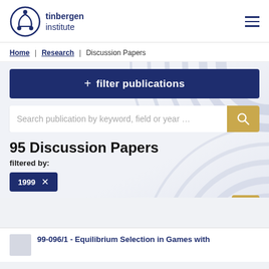tinbergen institute
Home | Research | Discussion Papers
+ filter publications
Search publication by keyword, field or year …
95 Discussion Papers
filtered by:
1999 ×
99-096/1 - Equilibrium Selection in Games with